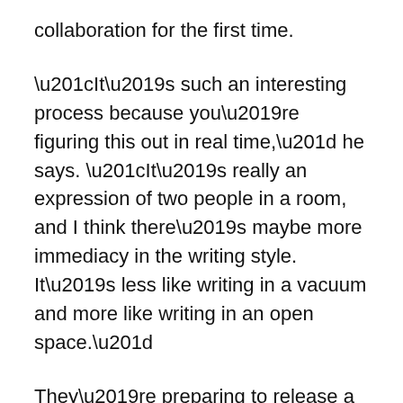collaboration for the first time.
“It’s such an interesting process because you’re figuring this out in real time,” he says. “It’s really an expression of two people in a room, and I think there’s maybe more immediacy in the writing style. It’s less like writing in a vacuum and more like writing in an open space.”
They’re preparing to release a new single in the coming weeks, as a preview of sorts for their next collection. Chang says it’s a track they’ve been playing in the live set for a while, but he’s coy about revealing any more. He does note that the song is unique in that it features Milas singing in